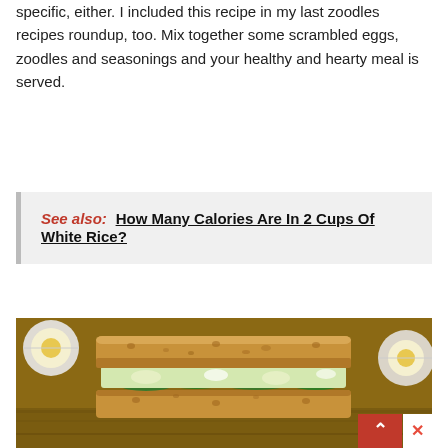specific, either. I included this recipe in my last zoodles recipes roundup, too. Mix together some scrambled eggs, zoodles and seasonings and your healthy and hearty meal is served.
See also:  How Many Calories Are In 2 Cups Of White Rice?
[Figure (photo): A sandwich made with whole wheat bread filled with egg salad and leafy greens (spinach), with halved hard-boiled eggs visible in the background, placed on a wooden surface.]